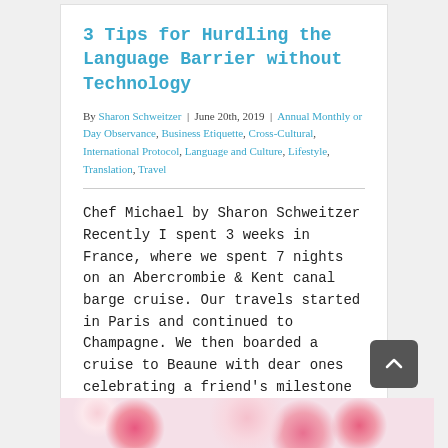3 Tips for Hurdling the Language Barrier without Technology
By Sharon Schweitzer | June 20th, 2019 | Annual Monthly or Day Observance, Business Etiquette, Cross-Cultural, International Protocol, Language and Culture, Lifestyle, Translation, Travel
Chef Michael by Sharon Schweitzer Recently I spent 3 weeks in France, where we spent 7 nights on an Abercrombie & Kent canal barge cruise. Our travels started in Paris and continued to Champagne. We then boarded a cruise to Beaune with dear ones celebrating a friend's milestone birthday. One morning, [...]
> Read More >
0
[Figure (photo): Bottom portion of floral image showing pink and red flowers, partially visible at the bottom of the page.]